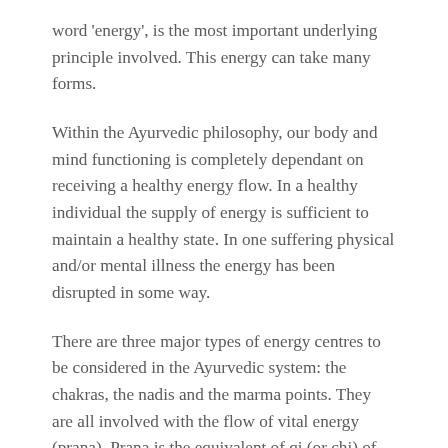word 'energy', is the most important underlying principle involved. This energy can take many forms.
Within the Ayurvedic philosophy, our body and mind functioning is completely dependant on receiving a healthy energy flow. In a healthy individual the supply of energy is sufficient to maintain a healthy state. In one suffering physical and/or mental illness the energy has been disrupted in some way.
There are three major types of energy centres to be considered in the Ayurvedic system: the chakras, the nadis and the marma points. They are all involved with the flow of vital energy (prana). Prana is the equivalent of qi (or chi) of the Traditional Chinese Medicine (TCM) system. According to Ayurvedic philosophy, the body (and mind) cannot remain healthy if the flow of prana is interrupted.